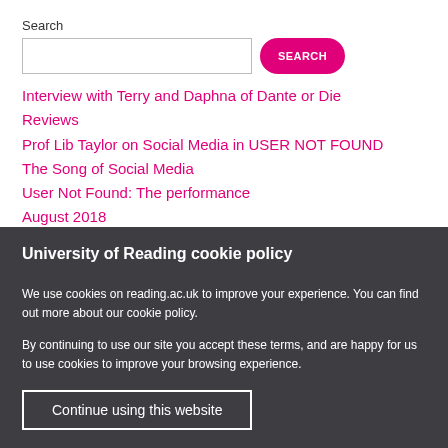Search
Interview with Terry and Daphna of Dante or Die
Reviews
Prof Lib Taylor on Social Media in USER NOT FOUND
The Song of Social Media
User Not Found: The performance
August 2018
July 2018
University of Reading cookie policy
We use cookies on reading.ac.uk to improve your experience. You can find out more about our cookie policy.
By continuing to use our site you accept these terms, and are happy for us to use cookies to improve your browsing experience.
Continue using this website